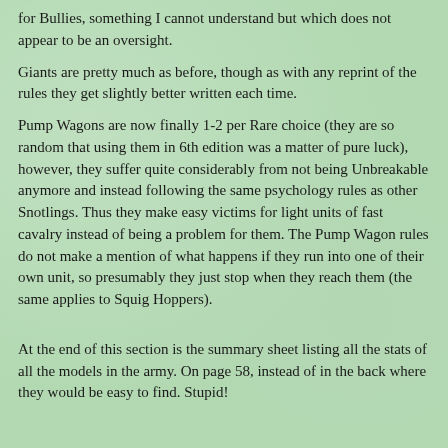for Bullies, something I cannot understand but which does not appear to be an oversight.
Giants are pretty much as before, though as with any reprint of the rules they get slightly better written each time.
Pump Wagons are now finally 1-2 per Rare choice (they are so random that using them in 6th edition was a matter of pure luck), however, they suffer quite considerably from not being Unbreakable anymore and instead following the same psychology rules as other Snotlings. Thus they make easy victims for light units of fast cavalry instead of being a problem for them. The Pump Wagon rules do not make a mention of what happens if they run into one of their own unit, so presumably they just stop when they reach them (the same applies to Squig Hoppers).
At the end of this section is the summary sheet listing all the stats of all the models in the army. On page 58, instead of in the back where they would be easy to find. Stupid!